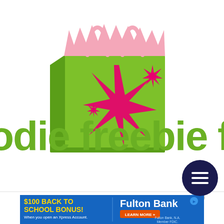[Figure (logo): Foodie Freebie Friday logo: a green shopping bag with pink tissue paper sticking out the top, decorated with a large pink star burst and smaller stars on the front face. Below the bag, the text 'foodie freebie friday' is written in large green handwritten script.]
Foodie Freebie Friday: Vienna Beef Hot Dog Kit!
[Figure (other): Advertisement banner for Fulton Bank: '$100 BACK TO SCHOOL BONUS! When you open an Xpress Account.' with Fulton Bank logo and Learn More button. Fulton Bank, N.A. Member FDIC.]